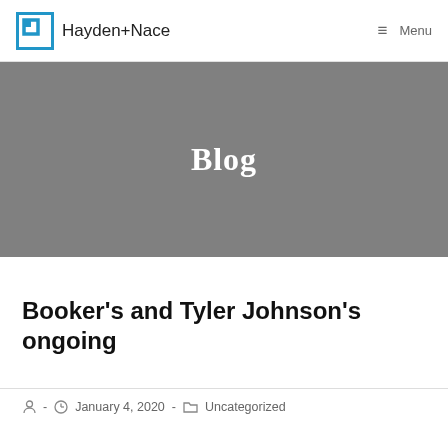Hayden+Nace   Menu
Blog
Booker's and Tyler Johnson's ongoing
- January 4, 2020 - Uncategorized